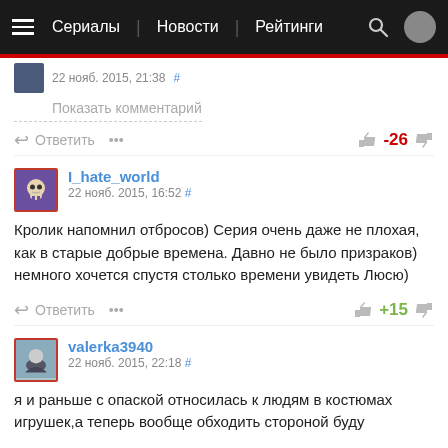Сериалы | Новости | Рейтинги
22 нояб. 2015, 21:38 #
Показать комментарий
Ответить   ...   -26
I_hate_world
22 нояб. 2015, 16:52 #
Кролик напомнил отбросов) Серия очень даже не плохая, как в старые добрые времена. Давно не было призраков) немного хочется спустя столько времени увидеть Люсю)
Ответить   ...   +15
valerka3940
22 нояб. 2015, 22:18 #
я и раньше с опаской относилась к людям в костюмах игрушек, а теперь вообще обходить стороной буду
Ответить   ...   +27